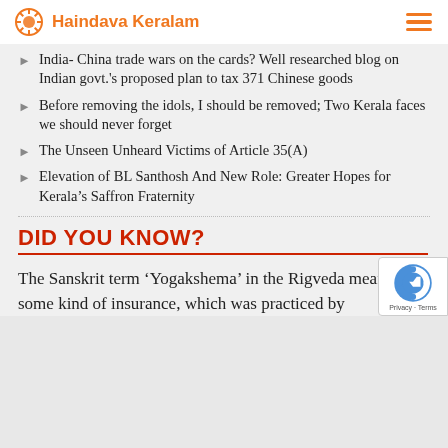Haindava Keralam
India- China trade wars on the cards? Well researched blog on Indian govt.'s proposed plan to tax 371 Chinese goods
Before removing the idols, I should be removed; Two Kerala faces we should never forget
The Unseen Unheard Victims of Article 35(A)
Elevation of BL Santhosh And New Role: Greater Hopes for Kerala's Saffron Fraternity
DID YOU KNOW?
The Sanskrit term ‘Yogakshema’ in the Rigveda meant some kind of insurance, which was practiced by